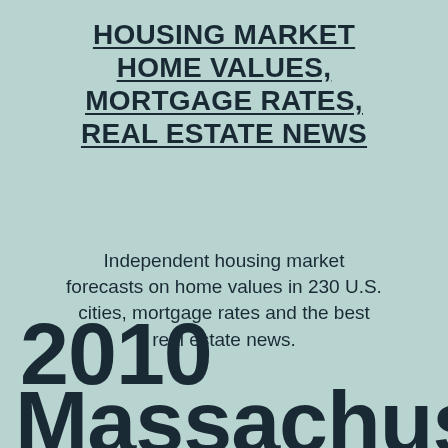HOUSING MARKET HOME VALUES, MORTGAGE RATES, REAL ESTATE NEWS
Independent housing market forecasts on home values in 230 U.S. cities, mortgage rates and the best real estate news.
2010
Massachusetts